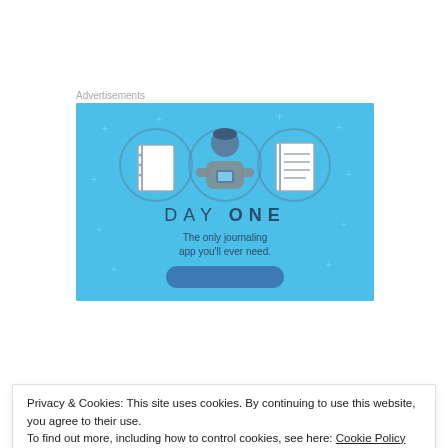Advertisements
[Figure (illustration): Day One journaling app advertisement on a blue background. Shows three circular icons with a blank notebook, a person using a phone, and a lined notepad. Text reads 'DAY ONE' and 'The only journaling app you'll ever need.' with a button at the bottom.]
Privacy & Cookies: This site uses cookies. By continuing to use this website, you agree to their use.
To find out more, including how to control cookies, see here: Cookie Policy
Close and accept